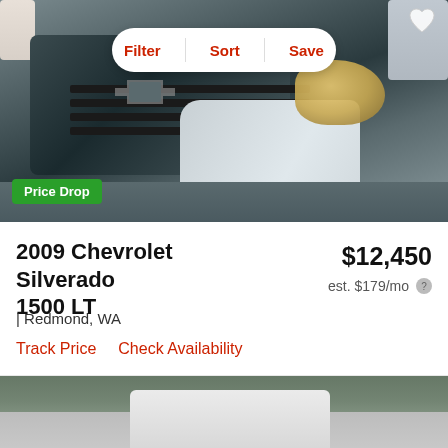[Figure (photo): Front view of a white 2009 Chevrolet Silverado 1500 LT pickup truck with chrome grille, headlights visible, in a parking lot setting. A green 'Price Drop' badge appears in the lower left of the image.]
Filter  Sort  Save
Price Drop
2009 Chevrolet Silverado 1500 LT
$12,450
est. $179/mo
| Redmond, WA
Track Price    Check Availability
[Figure (photo): Partial view of another vehicle listing below, showing a light-colored car in an outdoor setting with trees in background.]